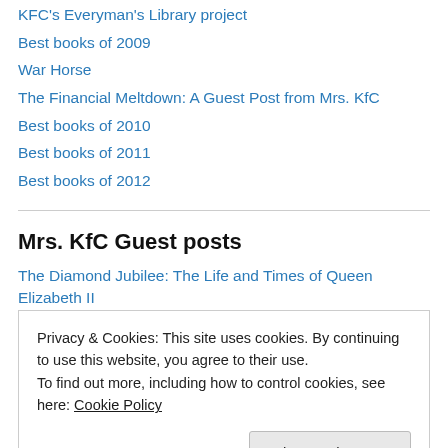KFC's Everyman's Library project
Best books of 2009
War Horse
The Financial Meltdown: A Guest Post from Mrs. KfC
Best books of 2010
Best books of 2011
Best books of 2012
Mrs. KfC Guest posts
The Diamond Jubilee: The Life and Times of Queen Elizabeth II
A Matter of Principle, an autobiography by Conrad Black
Privacy & Cookies: This site uses cookies. By continuing to use this website, you agree to their use. To find out more, including how to control cookies, see here: Cookie Policy
From Chanel to Valentino, a Foundation for Fashion